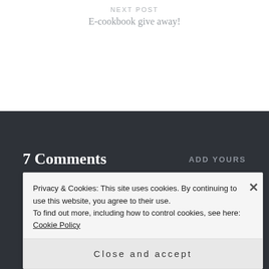NEXT POST
E-cookbook give away!
7 Comments
ADD YOURS
Privacy & Cookies: This site uses cookies. By continuing to use this website, you agree to their use. To find out more, including how to control cookies, see here: Cookie Policy
Close and accept